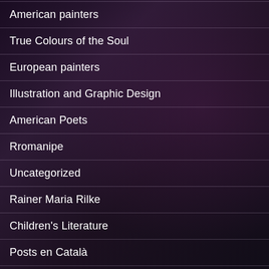American painters
True Colours of the Soul
European painters
Illustration and Graphic Design
American Poets
Rromanipe
Uncategorized
Rainer Maria Rilke
Children's Literature
Posts en Català